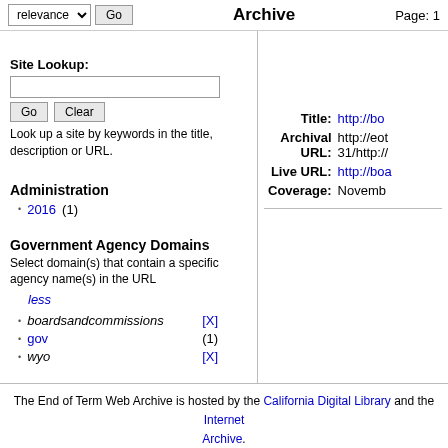relevance [dropdown] Go | Archive | Page: 1
Site Lookup:
Look up a site by keywords in the title, description or URL.
Administration
2016 (1)
Government Agency Domains
Select domain(s) that contain a specific agency name(s) in the URL
less
boardsandcommissions [X]
gov (1)
wyo [X]
Title: http://bo...
Archival URL: http://eot...31/http://...
Live URL: http://boa...
Coverage: Novemb...
The End of Term Web Archive is hosted by the California Digital Library and the Internet Archive. Privacy Policy | Contact Us